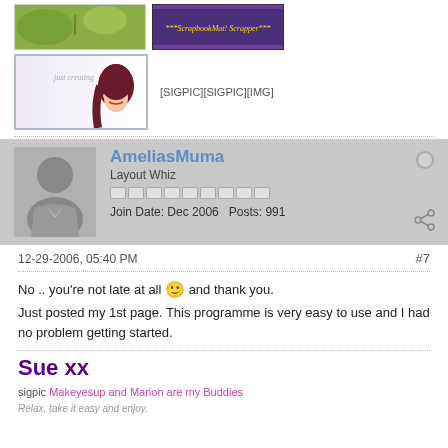[Figure (screenshot): Forum signature images: decorative nature banner, purple ScrapbookMat scrapper banner, and a purple gradient banner with illustrated female character]
[SIGPIC][SIGPIC][IMG]
AmeliasMuma
Layout Whiz
Join Date: Dec 2006   Posts: 991
12-29-2006, 05:40 PM
#7
No .. you're not late at all 🙂 and thank you.
Just posted my 1st page. This programme is very easy to use and I had no problem getting started.
Sue xx
sigpic Makeyesup and Marion are my Buddies
Relax, take it easy and enjoy.